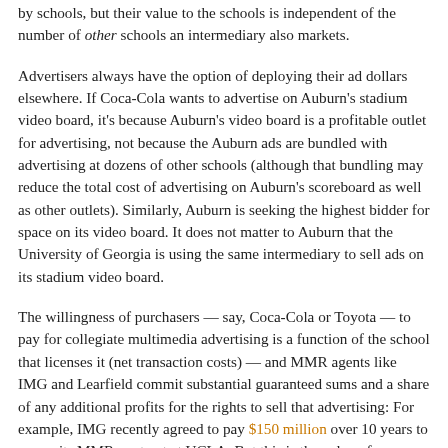by schools, but their value to the schools is independent of the number of other schools an intermediary also markets.
Advertisers always have the option of deploying their ad dollars elsewhere. If Coca-Cola wants to advertise on Auburn's stadium video board, it's because Auburn's video board is a profitable outlet for advertising, not because the Auburn ads are bundled with advertising at dozens of other schools (although that bundling may reduce the total cost of advertising on Auburn's scoreboard as well as other outlets). Similarly, Auburn is seeking the highest bidder for space on its video board. It does not matter to Auburn that the University of Georgia is using the same intermediary to sell ads on its stadium video board.
The willingness of purchasers — say, Coca-Cola or Toyota — to pay for collegiate multimedia advertising is a function of the school that licenses it (net transaction costs) — and MMR agents like IMG and Learfield commit substantial guaranteed sums and a share of any additional profits for the rights to sell that advertising: For example, IMG recently agreed to pay $150 million over 10 years to renew its MMR contract at UCLA. But this is the value of a particular, niche form of advertising, determined within the context of the broader advertising market. How much pricing power over scoreboard advertising does any